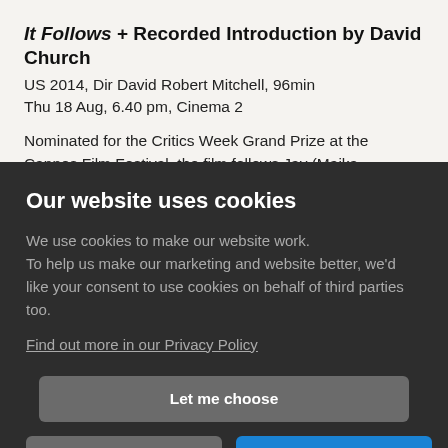It Follows + Recorded Introduction by David Church
US 2014, Dir David Robert Mitchell, 96min
Thu 18 Aug, 6.40 pm, Cinema 2
Nominated for the Critics Week Grand Prize at the Cannes Film Festival, the film follows Jay (Maika
Our website uses cookies
We use cookies to make our website work.
To help us make our marketing and website better, we'd like your consent to use cookies on behalf of third parties too.
Find out more in our Privacy Policy
Let me choose
Essential only
Yes, that's fine